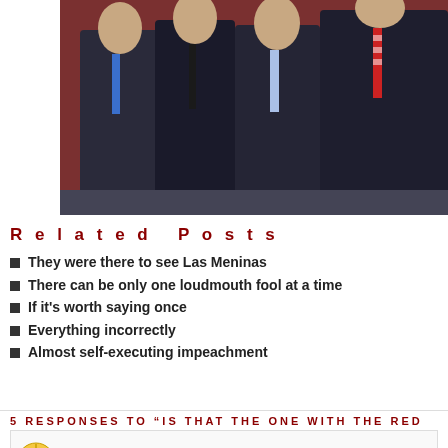[Figure (photo): Four men in dark suits posing together for a photo, with a red background. One wears a blue tie, one a black tie, one a light blue tie, and one a red and white striped tie.]
Related Posts
They were there to see Las Meninas
There can be only one loudmouth fool at a time
If it's worth saying once
Everything incorrectly
Almost self-executing impeachment
5 RESPONSES TO “IS THAT THE ONE WITH THE RED
James Garnett
October 11, 2019 at 6:46 pm